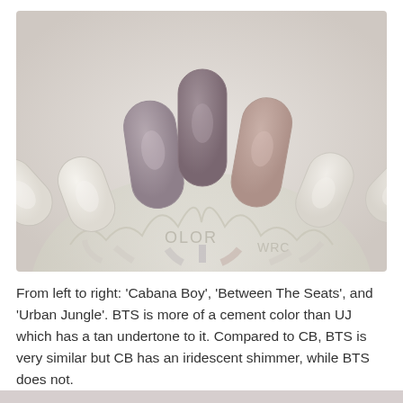[Figure (photo): A fan-shaped nail polish color swatch wheel showing five nail tips. From left to right: two off-white/cream tips on the far left and far right, a mauve-gray tip (Cabana Boy), a darker gray-purple tip (Between The Seats) in the center, and a pinkish-tan tip (Urban Jungle). The wheel base is translucent plastic with 'COLOR' text partially visible.]
From left to right: 'Cabana Boy', 'Between The Seats', and 'Urban Jungle'. BTS is more of a cement color than UJ which has a tan undertone to it. Compared to CB, BTS is very similar but CB has an iridescent shimmer, while BTS does not.